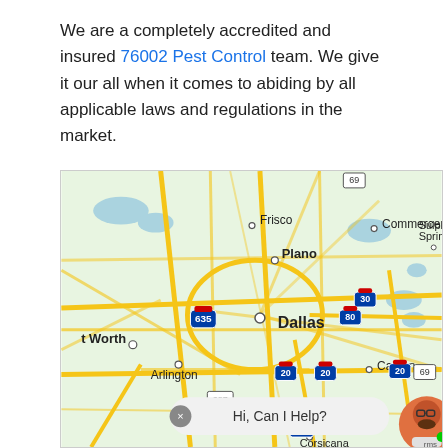We are a completely accredited and insured 76002 Pest Control team. We give it our all when it comes to abiding by all applicable laws and regulations in the market.
[Figure (map): Google Maps view of Dallas-Fort Worth area, Texas, showing cities including Dallas, Plano, Frisco, Arlington, Fort Worth, Canton, Commerce, Sulphur Springs, Corsicana, with highway markers 635, 30, 80, 20, 287, 35W, 35E, 45, 69. A chat widget overlay shows 'Hi, Can I Help?' with an avatar and X button.]